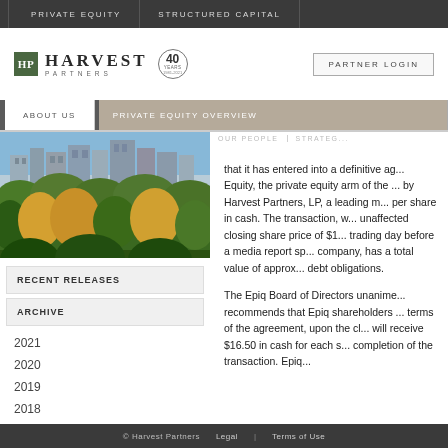PRIVATE EQUITY | STRUCTURED CAPITAL
[Figure (logo): Harvest Partners logo with HP box, company name, 40 Years badge, and Partner Login button]
ABOUT US | PRIVATE EQUITY OVERVIEW
[Figure (photo): City skyline with green park/trees in foreground]
RECENT RELEASES
ARCHIVE
2021
2020
2019
2018
that it has entered into a definitive ag... Equity, the private equity arm of the ... by Harvest Partners, LP, a leading m... per share in cash. The transaction, w... unaffected closing share price of $1... trading day before a media report sp... company, has a total value of approx... debt obligations.
The Epiq Board of Directors unanime... recommends that Epiq shareholders ... terms of the agreement, upon the cl... will receive $16.50 in cash for each s... completion of the transaction. Epiq...
© Harvest Partners   Legal | Terms of Use